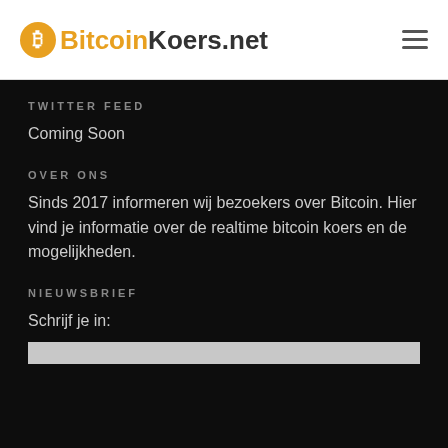BitcoinKoers.net
TWITTER FEED
Coming Soon
OVER ONS
Sinds 2017 informeren wij bezoekers over Bitcoin. Hier vind je informatie over de realtime bitcoin koers en de mogelijkheden.
NIEUWSBRIEF
Schrijf je in: